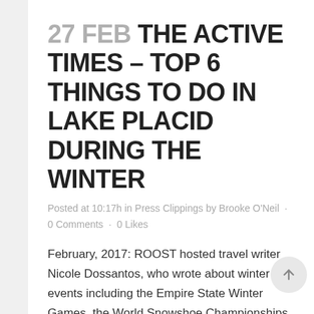27 FEB THE ACTIVE TIMES – TOP 6 THINGS TO DO IN LAKE PLACID DURING THE WINTER
Posted at 10:17h in Press Clippings by Brooke O'Neil · 0 Comments · 0 Likes
February, 2017: ROOST hosted travel writer Nicole Dossantos, who wrote about winter events including the Empire State Winter Games, the World Snowshoe Championships and the Saranac Lake Winter Carnival, among